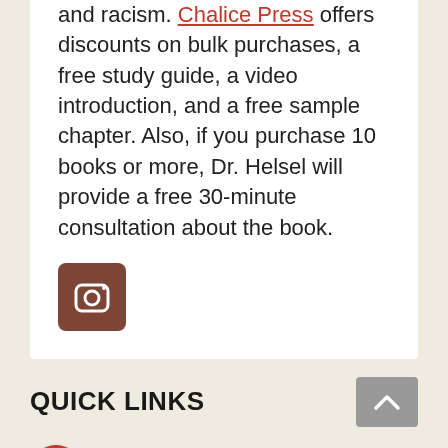and racism. Chalice Press offers discounts on bulk purchases, a free study guide, a video introduction, and a free sample chapter. Also, if you purchase 10 books or more, Dr. Helsel will provide a free 30-minute consultation about the book.
[Figure (logo): Instagram icon button — brown rounded square with white camera icon]
QUICK LINKS
Subscribe to Disciples e-letters
Disciples News Service Newsletter Archive